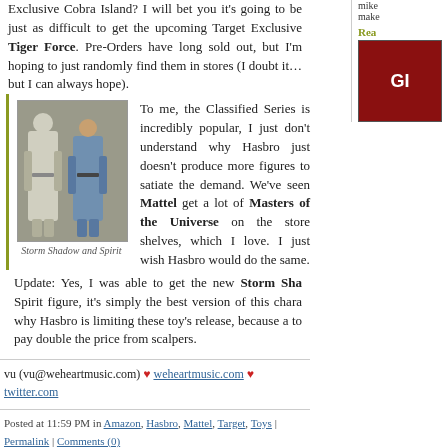Exclusive Cobra Island? I will bet you it's going to be just as difficult to get the upcoming Target Exclusive Tiger Force. Pre-Orders have long sold out, but I'm hoping to just randomly find them in stores (I doubt it… but I can always hope).
[Figure (photo): Photo of action figures labeled Storm Shadow and Spirit]
Storm Shadow and Spirit
To me, the Classified Series is incredibly popular, I just don't understand why Hasbro just doesn't produce more figures to satiate the demand. We've seen Mattel get a lot of Masters of the Universe on the store shelves, which I love. I just wish Hasbro would do the same.
Update: Yes, I was able to get the new Storm Shadow Spirit figure, it's simply the best version of this character why Hasbro is limiting these toy's release, because as to pay double the price from scalpers.
vu (vu@weheartmusic.com) ♥ weheartmusic.com ♥ twitter.com
Posted at 11:59 PM in Amazon, Hasbro, Mattel, Target, Toys | Permalink | Comments (0)
Reblog (0)
11/13/2021